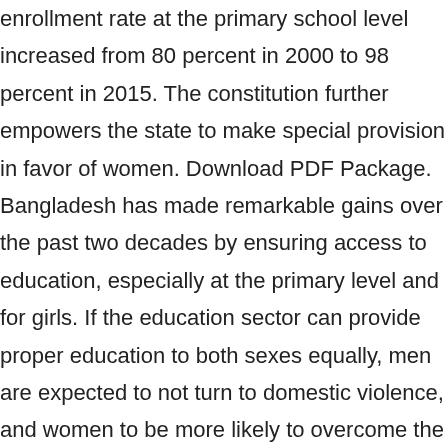enrollment rate at the primary school level increased from 80 percent in 2000 to 98 percent in 2015. The constitution further empowers the state to make special provision in favor of women. Download PDF Package. Bangladesh has made remarkable gains over the past two decades by ensuring access to education, especially at the primary level and for girls. If the education sector can provide proper education to both sexes equally, men are expected to not turn to domestic violence, and women to be more likely to overcome the situation of domestic violence at home, should there be one. Madrasah Education . Female education, is, as has already been referred to, educating the female citizens from their early age. In the year 2014, this figure fell to USD 449 million. The literacy rate of India is 74 percent. And most importantly, these